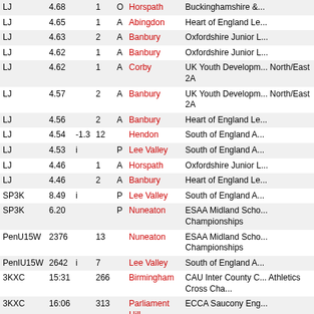| Event | Perf |  | Pos |  | Venue | Meeting |
| --- | --- | --- | --- | --- | --- | --- |
| LJ | 4.68 |  | 1 | O | Horspath | Buckinghamshire &... |
| LJ | 4.65 |  | 1 | A | Abingdon | Heart of England Le... |
| LJ | 4.63 |  | 2 | A | Banbury | Oxfordshire Junior L... |
| LJ | 4.62 |  | 1 | A | Banbury | Oxfordshire Junior L... |
| LJ | 4.62 |  | 1 | A | Corby | UK Youth Development North/East 2A |
| LJ | 4.57 |  | 2 | A | Banbury | UK Youth Development North/East 2A |
| LJ | 4.56 |  | 2 | A | Banbury | Heart of England Le... |
| LJ | 4.54 | -1.3 | 12 |  | Hendon | South of England A... |
| LJ | 4.53 | i |  | P | Lee Valley | South of England A... |
| LJ | 4.46 |  | 1 | A | Horspath | Oxfordshire Junior L... |
| LJ | 4.46 |  | 2 | A | Banbury | Heart of England Le... |
| SP3K | 8.49 | i |  | P | Lee Valley | South of England A... |
| SP3K | 6.20 |  |  | P | Nuneaton | ESAA Midland School Championships |
| PenU15W | 2376 |  | 13 |  | Nuneaton | ESAA Midland School Championships |
| PenIU15W | 2642 | i | 7 |  | Lee Valley | South of England A... |
| 3KXC | 15:31 |  | 266 |  | Birmingham | CAU Inter County C... Athletics Cross Cha... |
| 3KXC | 16:06 |  | 313 |  | Parliament Hill | ECCA Saucony Eng... |
| ZXC | 8:39 |  | 6 |  | Harwell | Oxford Mail League |
| ZXC | 10:00 |  | 7 |  | Cirencester | Oxford Mail League |
| ZXC | 10:48 |  | 8 |  | Culham | Oxford Mail League |
| 2014 U13 Bicester |  |  |  |  |  |  |
| Event | Perf |  | Pos |  | Venue | Meeting |